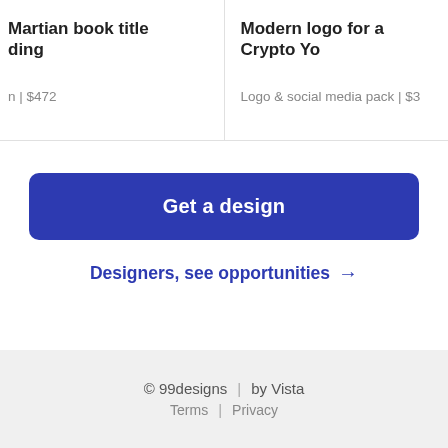Martian book title
ding
n | $472
Modern logo for a Crypto Yo
Logo & social media pack | $3
Get a design
Designers, see opportunities →
© 99designs  |  by Vista
Terms  |  Privacy